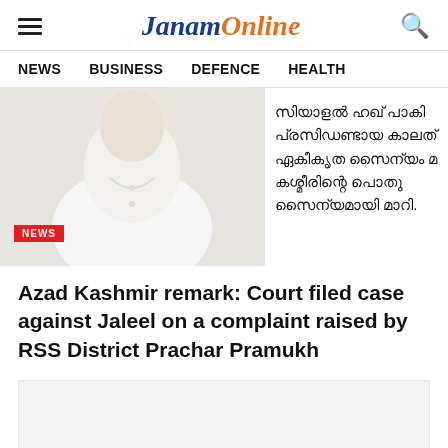JanamOnline
NEWS  BUSINESS  DEFENCE  HEALTH
[Figure (photo): A person in white clothing, partly visible, next to Malayalam text about Azad Kashmir. A red NEWS badge is shown in the lower left of the image.]
Azad Kashmir remark: Court filed case against Jaleel on a complaint raised by RSS District Prachar Pramukh
[Figure (other): Advertisement placeholder box (light gray background)]